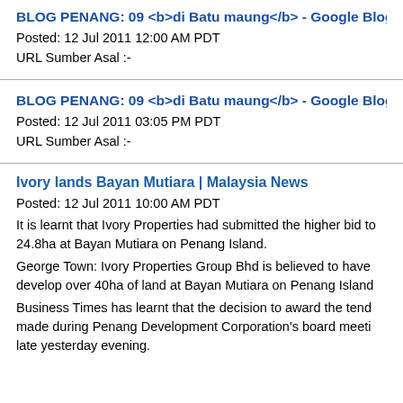BLOG PENANG: 09 <b>di Batu maung</b> - Google Blog S
Posted: 12 Jul 2011 12:00 AM PDT
URL Sumber Asal :-
BLOG PENANG: 09 <b>di Batu maung</b> - Google Blog S
Posted: 12 Jul 2011 03:05 PM PDT
URL Sumber Asal :-
Ivory lands Bayan Mutiara | Malaysia News
Posted: 12 Jul 2011 10:00 AM PDT
It is learnt that Ivory Properties had submitted the higher bid to... 24.8ha at Bayan Mutiara on Penang Island.
George Town: Ivory Properties Group Bhd is believed to have... develop over 40ha of land at Bayan Mutiara on Penang Island...
Business Times has learnt that the decision to award the tend... made during Penang Development Corporation's board meeti... late yesterday evening.